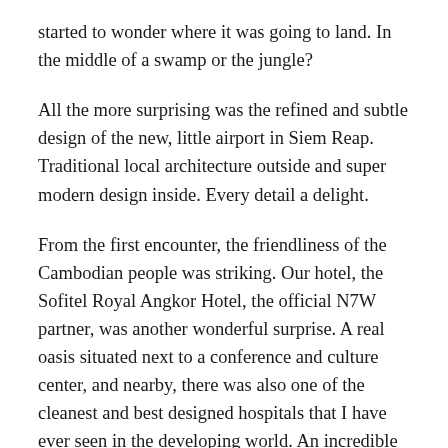started to wonder where it was going to land. In the middle of a swamp or the jungle?
All the more surprising was the refined and subtle design of the new, little airport in Siem Reap. Traditional local architecture outside and super modern design inside. Every detail a delight.
From the first encounter, the friendliness of the Cambodian people was striking. Our hotel, the Sofitel Royal Angkor Hotel, the official N7W partner, was another wonderful surprise. A real oasis situated next to a conference and culture center, and nearby, there was also one of the cleanest and best designed hospitals that I have ever seen in the developing world. An incredible achievement by Swiss doctor Beat Richner, who does all of the fundraising and runs it with total commitment and energy. The conference center he added and where he gives free